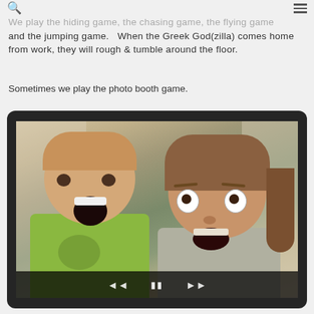m of the table.
We play the hiding game, the chasing game, the flying game and the jumping game. When the Greek God(zilla) comes home from work, they will rough & tumble around the floor.
Sometimes we play the photo booth game.
[Figure (photo): A photo booth style image showing a young boy in a green t-shirt on the left laughing with mouth wide open, and a woman on the right making a funny face with wide eyes and open mouth. Playful, fun family photo. Image has video player controls at the bottom (back, pause, forward buttons).]